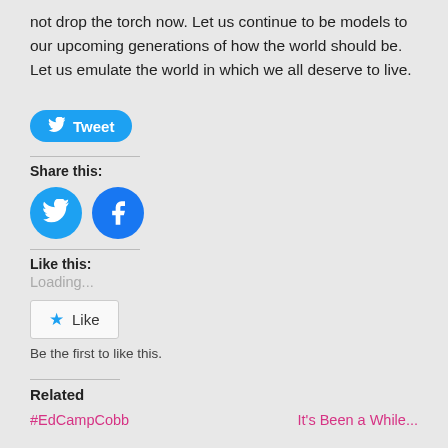not drop the torch now. Let us continue to be models to our upcoming generations of how the world should be. Let us emulate the world in which we all deserve to live.
[Figure (other): Twitter Tweet button with bird icon, blue rounded rectangle]
Share this:
[Figure (other): Two circular social media icons: Twitter (blue bird) and Facebook (blue f)]
Like this:
Loading...
[Figure (other): Like button with star icon in a rounded box]
Be the first to like this.
Related
#EdCampCobb
It's Been a While...